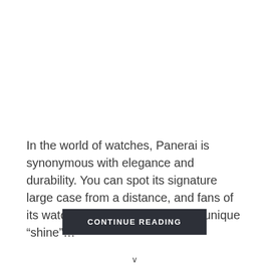In the world of watches, Panerai is synonymous with elegance and durability. You can spot its signature large case from a distance, and fans of its watches will tell you about the unique “shine”…
CONTINUE READING